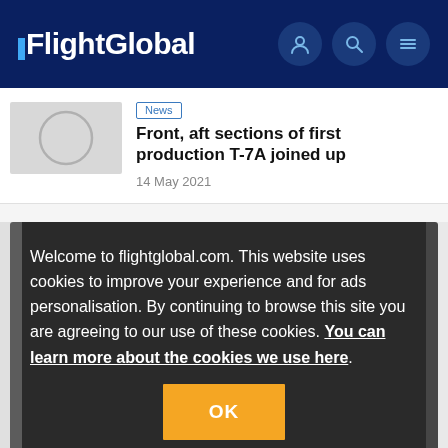FlightGlobal
News
Front, aft sections of first production T-7A joined up
14 May 2021
Welcome to flightglobal.com. This website uses cookies to improve your experience and for ads personalisation. By continuing to browse this site you are agreeing to our use of these cookies. You can learn more about the cookies we use here.
OK